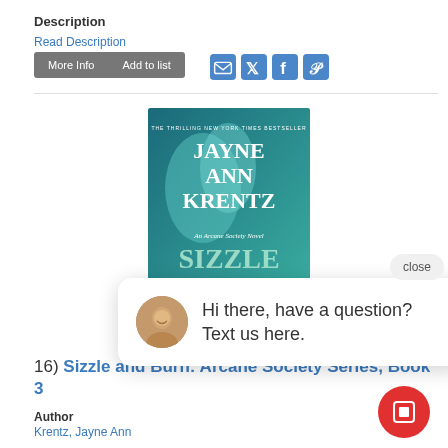Description
Read Description
More Info | Add to list
[Figure (screenshot): Book cover for Sizzle and Burn by Jayne Ann Krentz, an Arcane Society Novel, teal/blue tone]
Hi there, have a question? Text us here.
16) Sizzle and Burn: Arcane Society Series, Book 3
Author
Krentz, Jayne Ann